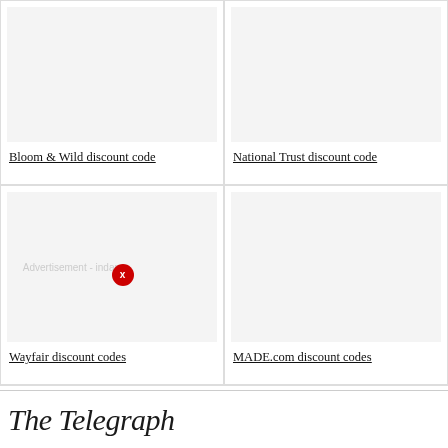[Figure (other): Bloom & Wild discount code card image placeholder (light grey box)]
Bloom & Wild discount code
[Figure (other): National Trust discount code card image placeholder (light grey box)]
National Trust discount code
[Figure (other): Wayfair discount codes card image placeholder (light grey box) with advertisement overlay 'Advertisement - indane' and red X close button]
Wayfair discount codes
[Figure (other): MADE.com discount codes card image placeholder (light grey box)]
MADE.com discount codes
The Telegraph